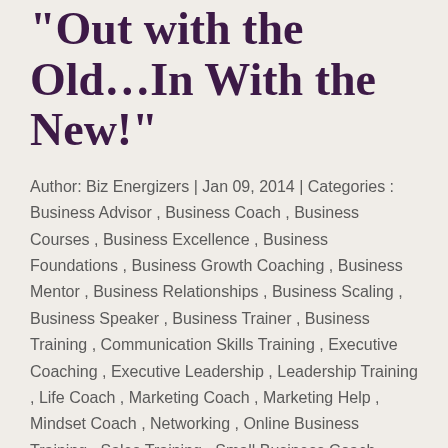“Out with the Old…In With the New!”
Author: Biz Energizers | Jan 09, 2014 | Categories: Business Advisor , Business Coach , Business Courses , Business Excellence , Business Foundations , Business Growth Coaching , Business Mentor , Business Relationships , Business Scaling , Business Speaker , Business Trainer , Business Training , Communication Skills Training , Executive Coaching , Executive Leadership , Leadership Training , Life Coach , Marketing Coach , Marketing Help , Mindset Coach , Networking , Online Business Training , Sales Training , Small Business Coach , Team Leadership
[Figure (other): Social media share buttons: Facebook, Twitter, LinkedIn]
I woke up on January 1st, 2014 with this incredible sense of DRIVE!......